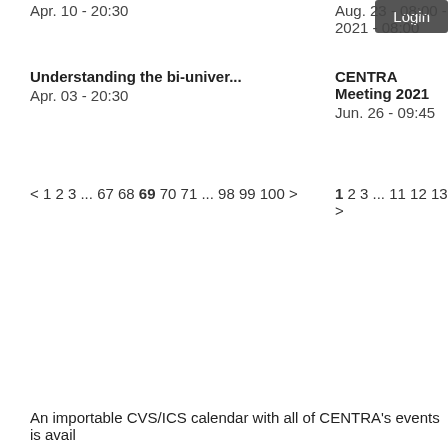Apr. 10 - 20:30
Aug. 23 - 08:00 - 2021 - 08:00
Login
Understanding the bi-univer...
Apr. 03 - 20:30
CENTRA Meeting 2021
Jun. 26 - 09:45
< 1 2 3 ... 67 68 69 70 71 ... 98 99 100 >
1 2 3 ... 11 12 13 >
An importable CVS/ICS calendar with all of CENTRA's events is avail